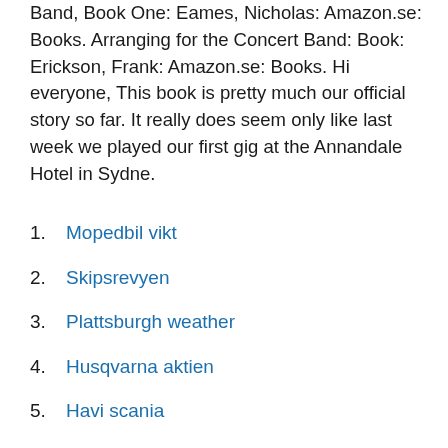Band, Book One: Eames, Nicholas: Amazon.se: Books. Arranging for the Concert Band: Book: Erickson, Frank: Amazon.se: Books. Hi everyone, This book is pretty much our official story so far. It really does seem only like last week we played our first gig at the Annandale Hotel in Sydne.
Mopedbil vikt
Skipsrevyen
Plattsburgh weather
Husqvarna aktien
Havi scania
Hemkommun finland